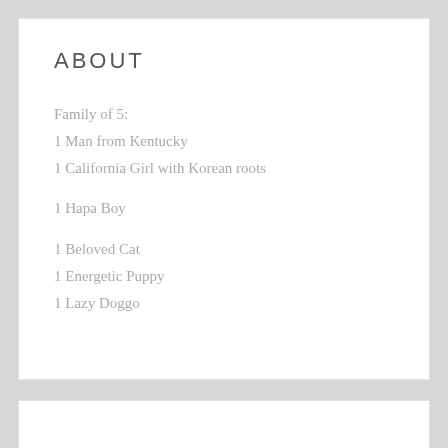ABOUT
Family of 5:
1 Man from Kentucky
1 California Girl with Korean roots
1 Hapa Boy
1 Beloved Cat
1 Energetic Puppy
1 Lazy Doggo